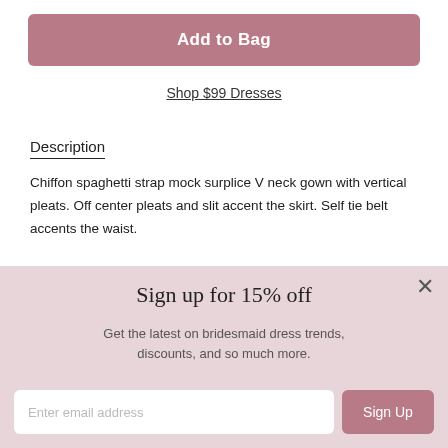Add to Bag
Shop $99 Dresses
Description
Chiffon spaghetti strap mock surplice V neck gown with vertical pleats. Off center pleats and slit accent the skirt. Self tie belt accents the waist.
[Figure (illustration): Social media icons row: Facebook, Instagram, Twitter, Pinterest]
Sign up for 15% off
Get the latest on bridesmaid dress trends, discounts, and so much more.
Enter email address
Sign Up